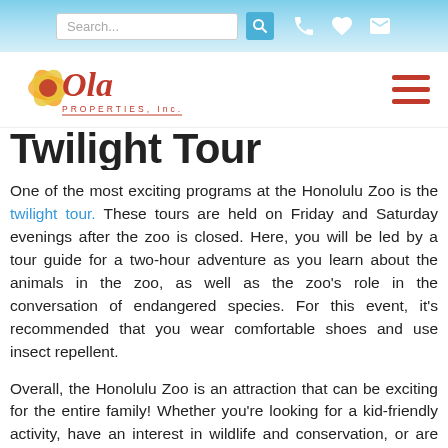[Figure (screenshot): Website top navigation bar with search field, search icon, phone icon, heart icon, and mail icon on a light blue gradient background]
[Figure (logo): Ola Properties Inc. logo with flower graphic on white navigation bar, and hamburger menu icon on the right]
Twilight Tour
One of the most exciting programs at the Honolulu Zoo is the twilight tour. These tours are held on Friday and Saturday evenings after the zoo is closed. Here, you will be led by a tour guide for a two-hour adventure as you learn about the animals in the zoo, as well as the zoo's role in the conversation of endangered species. For this event, it's recommended that you wear comfortable shoes and use insect repellent.
Overall, the Honolulu Zoo is an attraction that can be exciting for the entire family! Whether you're looking for a kid-friendly activity, have an interest in wildlife and conservation, or are simply looking for something fun to do in your free time, take a day to visit the zoo for a fun-filled afternoon.